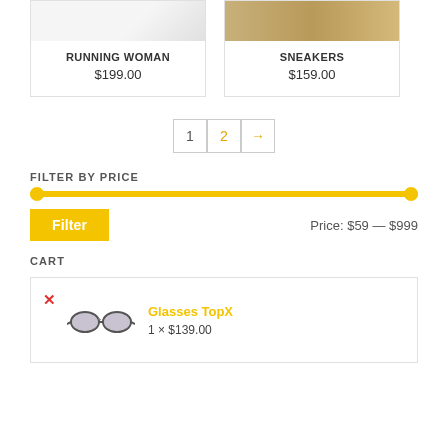[Figure (photo): Partial product card for RUNNING WOMAN showing white/light background image strip at top]
RUNNING WOMAN
$199.00
[Figure (photo): Partial product card for SNEAKERS showing golden/tan color shoelace image]
SNEAKERS
$159.00
1  2  →
FILTER BY PRICE
[Figure (other): Yellow horizontal price range slider spanning full width with circular handles on each end]
Filter
Price: $59 — $999
CART
[Figure (other): Cart item row with red X remove button, sunglasses image, item name Glasses TopX in gold, and quantity 1 x $139.00]